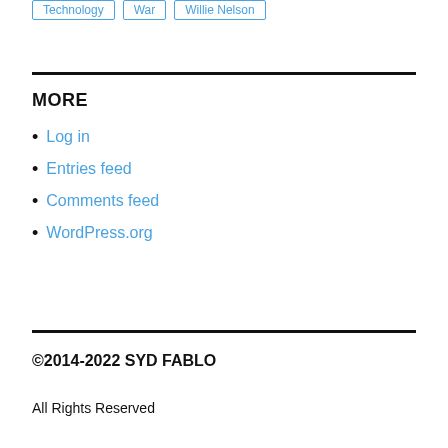Technology
War
Willie Nelson
MORE
Log in
Entries feed
Comments feed
WordPress.org
©2014-2022 SYD FABLO
All Rights Reserved